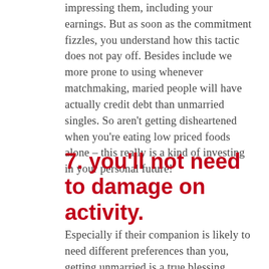impressing them, including your earnings. But as soon as the commitment fizzles, you understand how this tactic does not pay off. Besides include we more prone to using whenever matchmaking, maried people will have actually credit debt than unmarried singles. So aren't getting disheartened when you're eating low priced foods alone – this really is a kind of investing in your personal future!
7. you'll not need to damage on activity.
Especially if their companion is likely to need different preferences than you, getting unmarried is a true blessing. Once you can